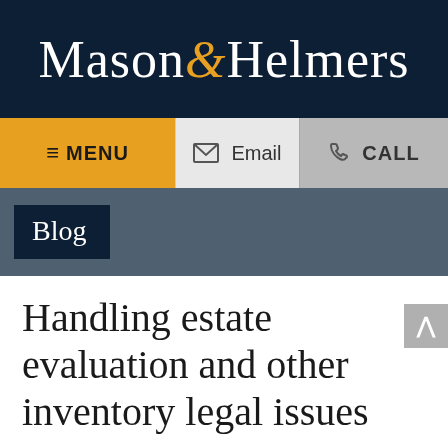Mason & Helmers
MENU  Email  CALL
Blog
Handling estate evaluation and other inventory legal issues